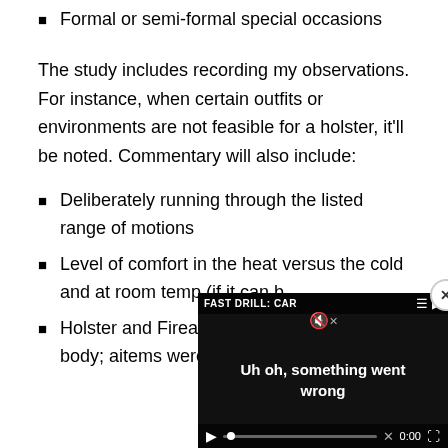Formal or semi-formal special occasions
The study includes recording my observations. For instance, when certain outfits or environments are not feasible for a holster, it’ll be noted. Commentary will also include:
Deliberately running through the listed range of motions
Level of comfort in the heat versus the cold and at room temp (if it can b[e tested]
Holster and Firearm visi[bility in various] positions on the body; a[nd which clothing] items were worn
[Figure (screenshot): A video player overlay showing 'FAST DRILL: CAR' in the top bar, an error message 'Uh oh, something went wrong' in white text on a dark background, with media controls at the bottom showing a play button, progress bar, 0:00 timestamp, and fullscreen button. A close (x) button appears in the top right corner.]